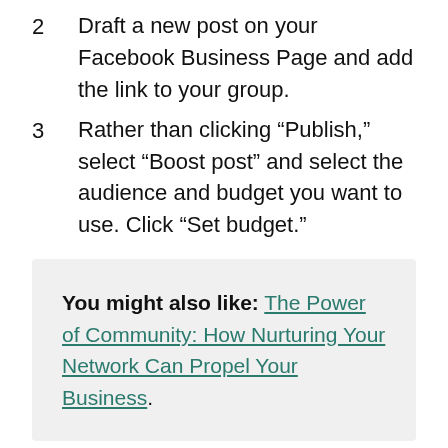2  Draft a new post on your Facebook Business Page and add the link to your group.
3  Rather than clicking “Publish,” select “Boost post” and select the audience and budget you want to use. Click “Set budget.”
You might also like: The Power of Community: How Nurturing Your Network Can Propel Your Business.
Additional promotion